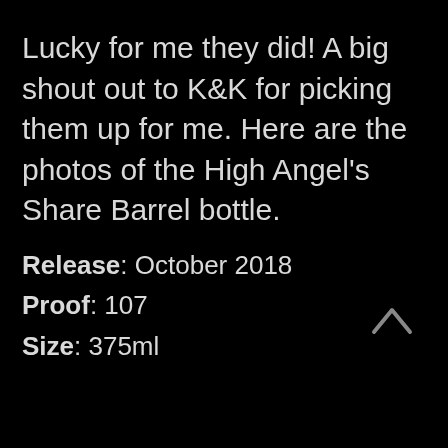Lucky for me they did! A big shout out to K&K for picking them up for me. Here are the photos of the High Angel's Share Barrel bottle.
Release: October 2018
Proof: 107
Size: 375ml